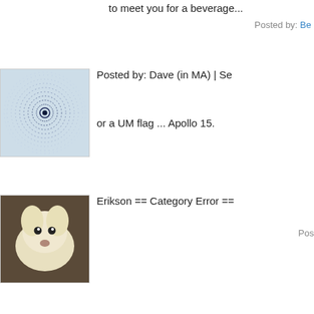to meet you for a beverage...
Posted by: Be
[Figure (illustration): Spiral pattern avatar image with concentric dotted circles]
Posted by: Dave (in MA) | Se
or a UM flag ... Apollo 15.
[Figure (photo): White fluffy dog photo avatar]
Erikson == Category Error ==
Pos
[Figure (photo): Beach/swimwear photo avatar]
I remember my little sister an evening and felt extremely pu watch some fuzzy black and the sand.
Then we jumped back in the
Posted by: Ign
[Figure (illustration): Green sunburst/radial pattern avatar]
So where the real hardcore r as they pretend to be. Of cou